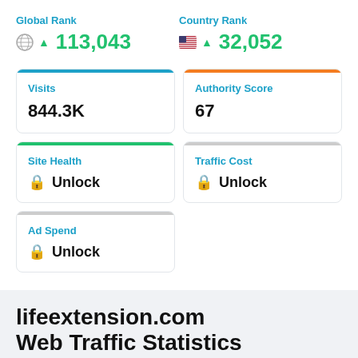Global Rank
▲ 113,043
Country Rank
▲ 32,052
Visits
844.3K
Authority Score
67
Site Health
🔒 Unlock
Traffic Cost
🔒 Unlock
Ad Spend
🔒 Unlock
lifeextension.com
Web Traffic Statistics
Get a snapshot of Life Extension's online performance by